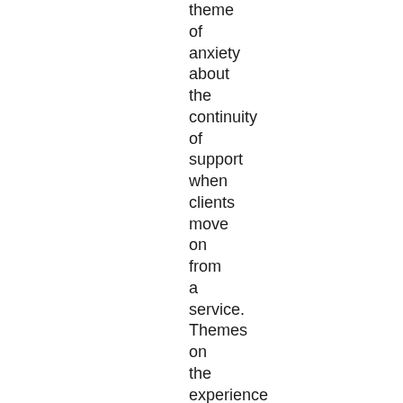theme of anxiety about the continuity of support when clients move on from a service. Themes on the experience of what aided